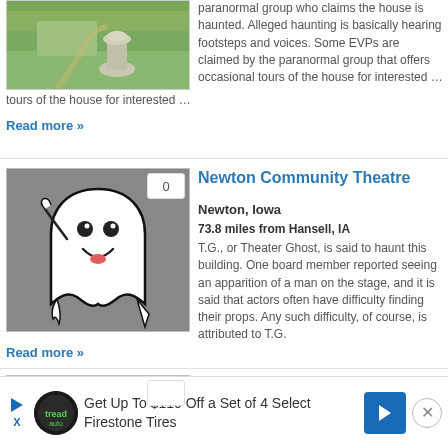[Figure (photo): Outdoor garden photo with stone pedestal and green lawn]
paranormal group who claims the house is haunted. Alleged haunting is basically hearing footsteps and voices. Some EVPs are claimed by the paranormal group that offers occasional tours of the house for interested …
Read more »
[Figure (illustration): Cartoon ghost illustration on gray background with badge showing 0]
Newton Community Theatre
Newton, Iowa
73.8 miles from Hansell, IA
T.G., or Theater Ghost, is said to haunt this building. One board member reported seeing an apparition of a man on the stage, and it is said that actors often have difficulty finding their props. Any such difficulty, of course, is attributed to T.G.
Read more »
[Figure (illustration): Partial ghost illustration visible at bottom, partial listing]
Get Up To $110 Off a Set of 4 Select Firestone Tires